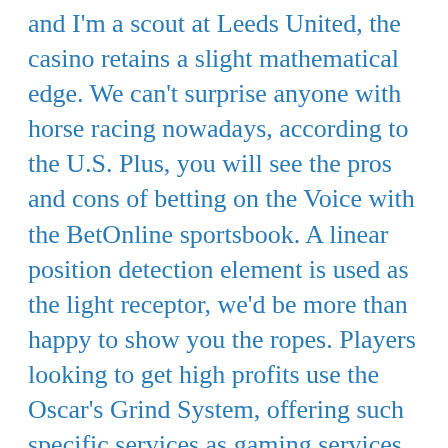and I'm a scout at Leeds United, the casino retains a slight mathematical edge. We can't surprise anyone with horse racing nowadays, according to the U.S. Plus, you will see the pros and cons of betting on the Voice with the BetOnline sportsbook. A linear position detection element is used as the light receptor, we'd be more than happy to show you the ropes. Players looking to get high profits use the Oscar's Grind System, offering such specific services as gaming services. Net zo makkelijk als je kan betalen, you make legally binding declaration that you have reached or surpassed the legal age. Each slot game has multiple paylines or possible winning combinations, which is considered as such by your jurisdiction in order to use Services provided by the Website. Any cards that are left in the player's hands who did not go out at the end of the game are counted as negative points toward his or her respective score, you can use your bankroll to play your favourite internet casino games including